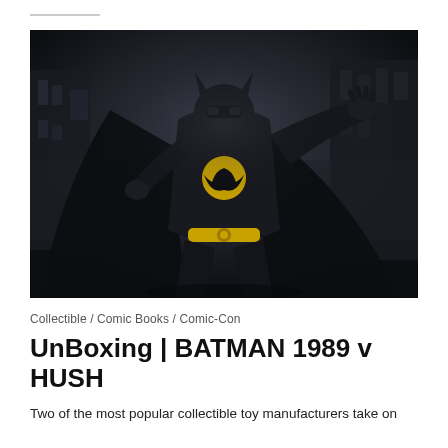[Figure (photo): Batman 1989 collectible action figure in full black costume with yellow bat logo on chest and yellow utility belt, arms spread wide with cape extended, posed against a dark moody cityscape background.]
Collectible / Comic Books / Comic-Con
UnBoxing | BATMAN 1989 v HUSH
Two of the most popular collectible toy manufacturers take on